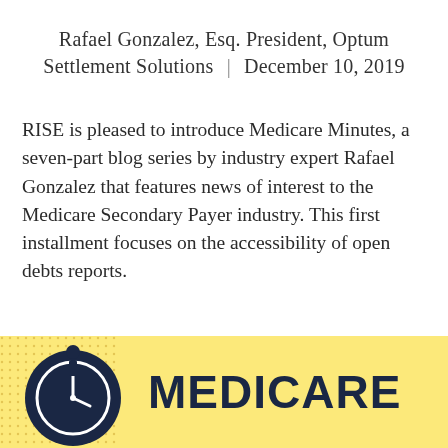Rafael Gonzalez, Esq. President, Optum Settlement Solutions | December 10, 2019
RISE is pleased to introduce Medicare Minutes, a seven-part blog series by industry expert Rafael Gonzalez that features news of interest to the Medicare Secondary Payer industry. This first installment focuses on the accessibility of open debts reports.
[Figure (illustration): Yellow banner with dark navy circle/clock icon on the left and bold navy text reading MEDICARE on the right, on a yellow background with a subtle dot pattern.]